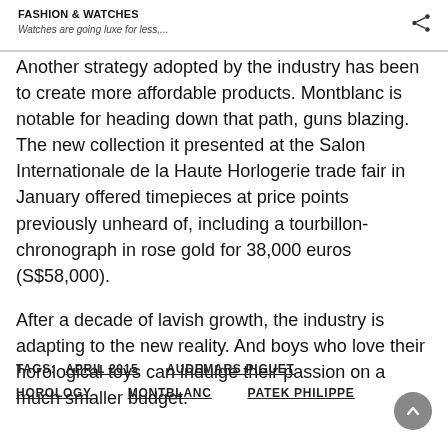FASHION & WATCHES
Watches are going luxe for less,...
Another strategy adopted by the industry has been to create more affordable products. Montblanc is notable for heading down that path, guns blazing. The new collection it presented at the Salon Internationale de la Haute Horlogerie trade fair in January offered timepieces at price points previously unheard of, including a tourbillon-chronograph in rose gold for 38,000 euros (S$58,000).
After a decade of lavish growth, the industry is adapting to the new reality. And boys who love their horological toys can indulge their passion on a much smaller budget.
TAGS:  APRIL 2015    AUDEMARS PIGUET

HOROLOGY    MONTBLANC    PATEK PHILIPPE